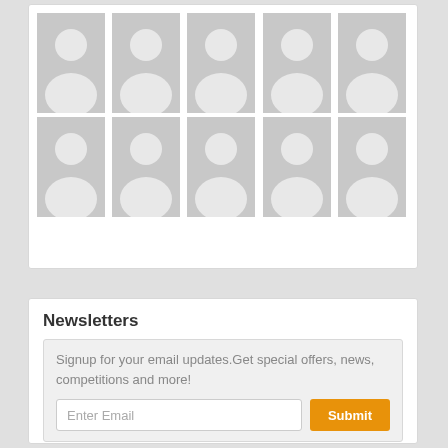[Figure (illustration): Grid of 10 generic placeholder user avatar images arranged in 2 rows of 5, shown on a white card background. Each avatar shows a silhouette of a person (head and shoulders) in white on a gray background.]
Newsletters
Signup for your email updates.Get special offers, news, competitions and more!